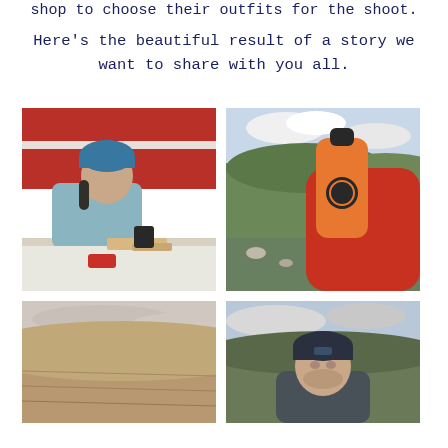shop to choose their outfits for the shoot.
Here's the beautiful result of a story we want to share with you all.
[Figure (photo): Man wearing blue beanie and light blue sweater sitting at a table eating, next to a red and white vehicle, with a black mug and red cup on the table]
[Figure (photo): Hand in red jacket holding an orange water bottle with a bear logo, with green hilly landscape and cloudy sky in the background]
[Figure (photo): Aerial or ground-level view of brown hillside landscape under overcast sky]
[Figure (photo): Young man wearing dark blue beanie looking slightly to the side, with green hilly landscape in the background]